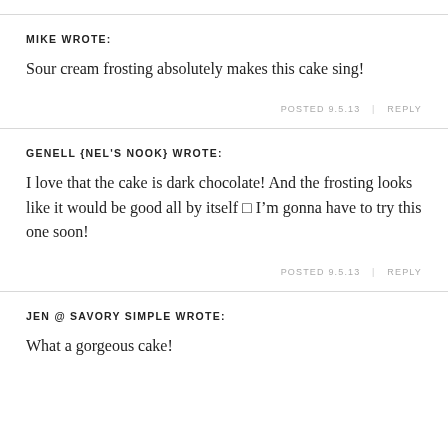MIKE WROTE:
Sour cream frosting absolutely makes this cake sing!
POSTED 9.5.13  |  REPLY
GENELL {NEL'S NOOK} WROTE:
I love that the cake is dark chocolate! And the frosting looks like it would be good all by itself □ I’m gonna have to try this one soon!
POSTED 9.5.13  |  REPLY
JEN @ SAVORY SIMPLE WROTE:
What a gorgeous cake!